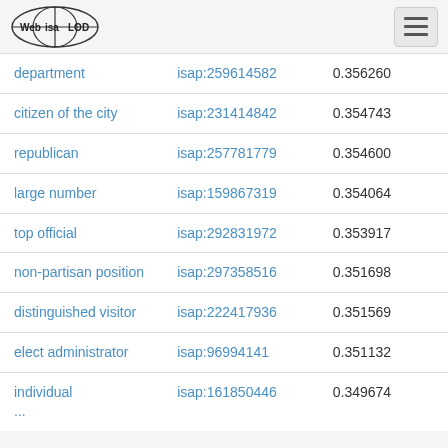Web isa LOD
| department | isap:259614582 | 0.356260 |
| citizen of the city | isap:231414842 | 0.354743 |
| republican | isap:257781779 | 0.354600 |
| large number | isap:159867319 | 0.354064 |
| top official | isap:292831972 | 0.353917 |
| non-partisan position | isap:297358516 | 0.351698 |
| distinguished visitor | isap:222417936 | 0.351569 |
| elect administrator | isap:96994141 | 0.351132 |
| individual ... | isap:161850446 | 0.349674 |